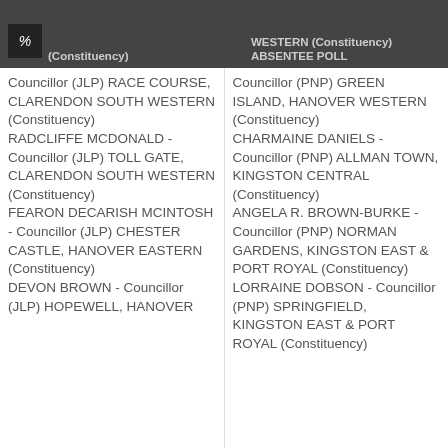(Constituency) WESTERN (Constituency) ABSENTEE POLL
Councillor (JLP) RACE COURSE, CLARENDON SOUTH WESTERN (Constituency)
RADCLIFFE MCDONALD - Councillor (JLP) TOLL GATE, CLARENDON SOUTH WESTERN (Constituency)
FEARON DECARISH MCINTOSH - Councillor (JLP) CHESTER CASTLE, HANOVER EASTERN (Constituency)
DEVON BROWN - Councillor (JLP) HOPEWELL, HANOVER
Councillor (PNP) GREEN ISLAND, HANOVER WESTERN (Constituency)
CHARMAINE DANIELS - Councillor (PNP) ALLMAN TOWN, KINGSTON CENTRAL (Constituency)
ANGELA R. BROWN-BURKE - Councillor (PNP) NORMAN GARDENS, KINGSTON EAST & PORT ROYAL (Constituency)
LORRAINE DOBSON - Councillor (PNP) SPRINGFIELD, KINGSTON EAST & PORT ROYAL (Constituency)